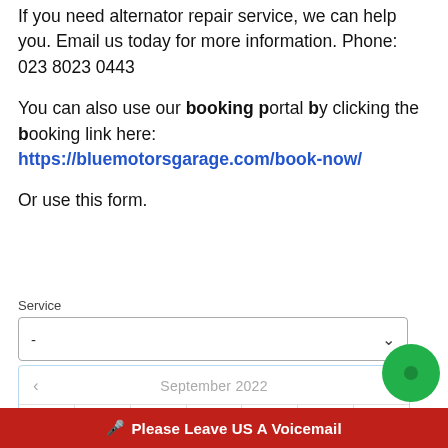If you need alternator repair service, we can help you. Email us today for more information. Phone: 023 8023 0443
You can also use our booking portal by clicking the booking link here: https://bluemotorsgarage.com/book-now/
Or use this form.
[Figure (screenshot): A web booking form with a 'Service' label, a dropdown selector showing '-', and a calendar picker showing September 2022 with day headers Mo, Tu, We, Th, Fr, Sa, Su]
Please Leave US A Voicemail